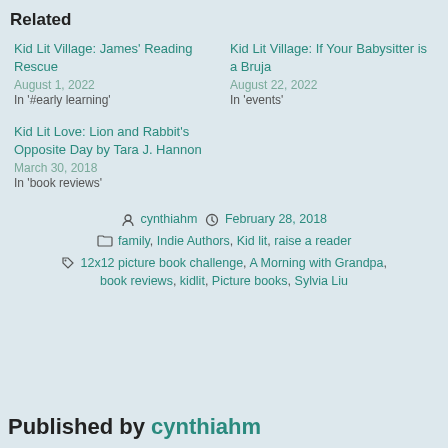Related
Kid Lit Village: James' Reading Rescue
August 1, 2022
In '#early learning'
Kid Lit Village: If Your Babysitter is a Bruja
August 22, 2022
In 'events'
Kid Lit Love: Lion and Rabbit's Opposite Day by Tara J. Hannon
March 30, 2018
In 'book reviews'
Posted by cynthiahm  February 28, 2018  family, Indie Authors, Kid lit, raise a reader  12x12 picture book challenge, A Morning with Grandpa, book reviews, kidlit, Picture books, Sylvia Liu
Published by cynthiahm